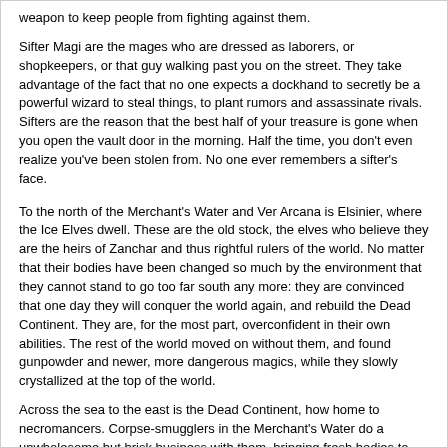weapon to keep people from fighting against them.
Sifter Magi are the mages who are dressed as laborers, or shopkeepers, or that guy walking past you on the street. They take advantage of the fact that no one expects a dockhand to secretly be a powerful wizard to steal things, to plant rumors and assassinate rivals. Sifters are the reason that the best half of your treasure is gone when you open the vault door in the morning. Half the time, you don't even realize you've been stolen from. No one ever remembers a sifter's face.
To the north of the Merchant's Water and Ver Arcana is Elsinier, where the Ice Elves dwell. These are the old stock, the elves who believe they are the heirs of Zanchar and thus rightful rulers of the world. No matter that their bodies have been changed so much by the environment that they cannot stand to go too far south any more: they are convinced that one day they will conquer the world again, and rebuild the Dead Continent. They are, for the most part, overconfident in their own abilities. The rest of the world moved on without them, and found gunpowder and newer, more dangerous magics, while they slowly crystallized at the top of the world.
Across the sea to the east is the Dead Continent, how home to necromancers. Corpse-smugglers in the Merchant's Water do a unwholesome but brisk business with them, bringing fresh bodies to feed into the ever-churning undead wars.
To the north of the Dead Continent and a ways further east is Deslocke, a continent named after the only explorer who came back from it alive. Not much is known about it, though it is said that the False King Eric the Blue fled there from Merdallan after it was discovered that he had forged the crown jewels he was wearing (the jewels being magical, and only fit to be worn by the True King, etc).
Races
Human: You know what these guys are. General population of Sav Altulas.
Ice Elf: Live in Elsinier. Humanloos. Most common elf variant in Sav Altulas.